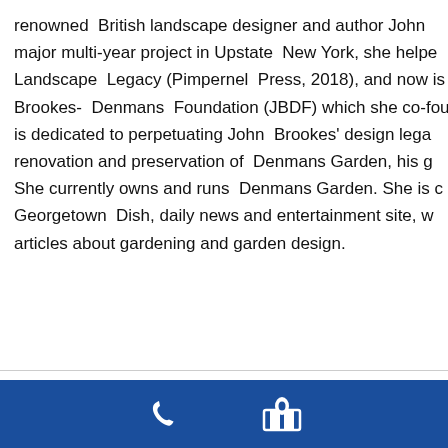renowned  British landscape designer and author John major multi-year project in Upstate  New York, she helpe Landscape  Legacy (Pimpernel  Press, 2018), and now is Brookes-  Denmans  Foundation (JBDF) which she co-fou is dedicated to perpetuating John  Brookes' design lega renovation and preservation of  Denmans Garden, his g She currently owns and runs  Denmans Garden. She is c Georgetown  Dish, daily news and entertainment site, w articles about gardening and garden design.
This website uses cookies to improve your experience. We'll assume you're ok with this, but you can opt-out if you wish. Cookie
[Figure (other): Blue footer bar with white phone icon and white map/location icon]